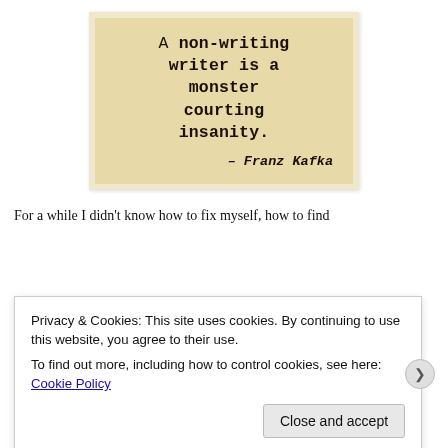[Figure (illustration): A vintage-styled typewriter-font quote on aged parchment background reading: 'A non-writing writer is a monster courting insanity. – Franz Kafka']
For a while I didn't know how to fix myself, how to find
Privacy & Cookies: This site uses cookies. By continuing to use this website, you agree to their use.
To find out more, including how to control cookies, see here: Cookie Policy